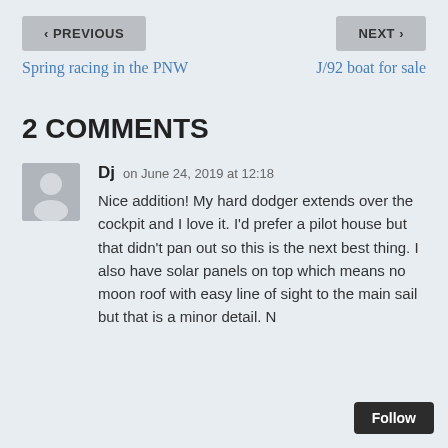< PREVIOUS    NEXT >
Spring racing in the PNW    J/92 boat for sale
2 COMMENTS
[Figure (illustration): Gray avatar silhouette icon for user Dj]
Dj on June 24, 2019 at 12:18
Nice addition! My hard dodger extends over the cockpit and I love it. I'd prefer a pilot house but that didn't pan out so this is the next best thing. I also have solar panels on top which means no moon roof with easy line of sight to the main sail but that is a minor detail. N...